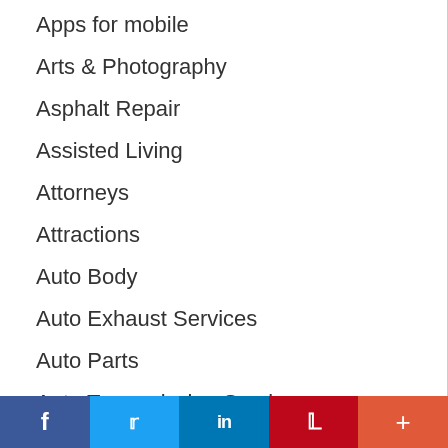Apps for mobile
Arts & Photography
Asphalt Repair
Assisted Living
Attorneys
Attractions
Auto Body
Auto Exhaust Services
Auto Parts
Auto Transmission Services
Automotive
Automotive Brakes
Automotive Repairs
Autos